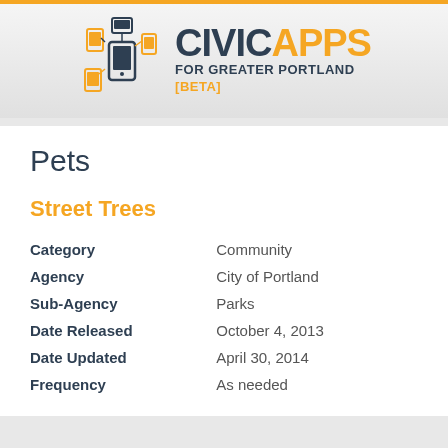[Figure (logo): CivicApps for Greater Portland [BETA] logo with mobile device icons in orange and dark navy blue]
Pets
Street Trees
| Category | Community |
| Agency | City of Portland |
| Sub-Agency | Parks |
| Date Released | October 4, 2013 |
| Date Updated | April 30, 2014 |
| Frequency | As needed |